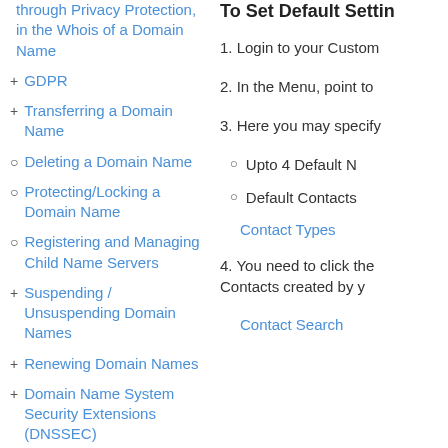through Privacy Protection, in the Whois of a Domain Name
+ GDPR
+ Transferring a Domain Name
○ Deleting a Domain Name
○ Protecting/Locking a Domain Name
○ Registering and Managing Child Name Servers
+ Suspending / Unsuspending Domain Names
+ Renewing Domain Names
+ Domain Name System Security Extensions (DNSSEC)
○ Domain Name Registration Default Settings
○ Viewing Action History
To Set Default Settin
1. Login to your Custom
2. In the Menu, point to
3. Here you may specify
○ Upto 4 Default N
○ Default Contacts
Contact Types
4. You need to click the Contacts created by y
Contact Search
Next step...